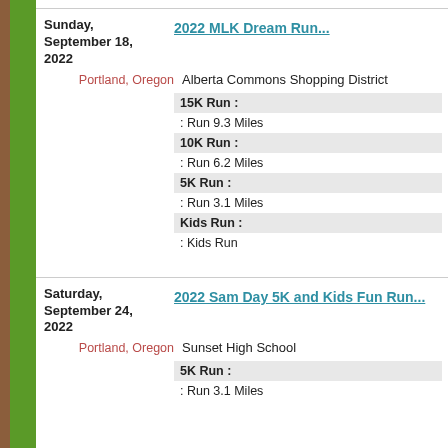Sunday, September 18, 2022
2022 MLK Dream Run...
Portland, Oregon  Alberta Commons Shopping District
| Category | Detail |
| --- | --- |
| 15K Run : |  |
|  | : Run 9.3 Miles |
| 10K Run : |  |
|  | : Run 6.2 Miles |
| 5K Run : |  |
|  | : Run 3.1 Miles |
| Kids Run : |  |
|  | : Kids Run |
Saturday, September 24, 2022
2022 Sam Day 5K and Kids Fun Run...
Portland, Oregon  Sunset High School
| Category | Detail |
| --- | --- |
| 5K Run : |  |
|  | : Run 3.1 Miles |